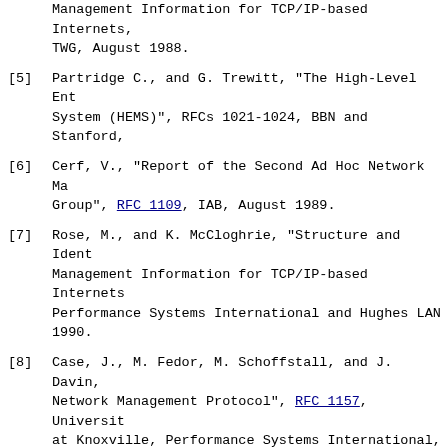Management Information for TCP/IP-based Internets, TWG, August 1988.
[5] Partridge C., and G. Trewitt, "The High-Level Entity Management System (HEMS)", RFCs 1021-1024, BBN and Stanford,
[6] Cerf, V., "Report of the Second Ad Hoc Network Management Group", RFC 1109, IAB, August 1989.
[7] Rose, M., and K. McCloghrie, "Structure and Identification of Management Information for TCP/IP-based Internets, Performance Systems International and Hughes LAN 1990.
[8] Case, J., M. Fedor, M. Schoffstall, and J. Davin, Network Management Protocol", RFC 1157, University at Knoxville, Performance Systems International, Systems International, and the MIT Laboratory for Science, May 1990.
[9] Partridge C., and G. Trewitt, "HEMS Variable Definition", RFC 1024, BBN and Stanford, October 1987.
[10] Case, J., M. Fedor, M. Schoffstall, and J. Davin, Network Management Protocol", RFC 1067, University At Knoxville, NYSERNet, Rensselaer Polytechnic, 1988.
[11] LaBarre, L., "Structure and Identification of Management Information for the Internet", Internet Engineering